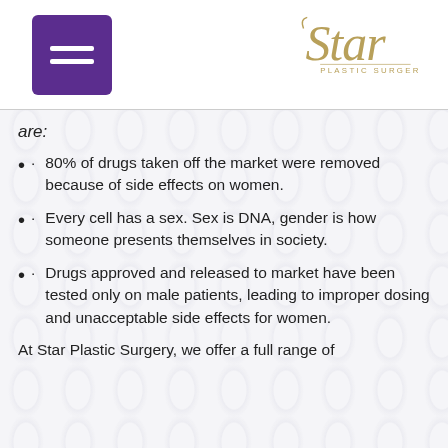Star Plastic Surgery
are:
· 80% of drugs taken off the market were removed because of side effects on women.
· Every cell has a sex. Sex is DNA, gender is how someone presents themselves in society.
· Drugs approved and released to market have been tested only on male patients, leading to improper dosing and unacceptable side effects for women.
At Star Plastic Surgery, we offer a full range of